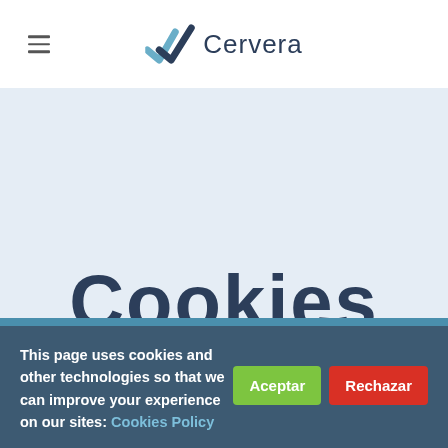[Figure (logo): Cervera logo with double checkmark icon in dark blue and light blue, followed by the text 'Cervera' in dark navy]
[Figure (screenshot): Light blue-grey background page area with the word 'Cookies' in large dark bold text partially visible at the bottom]
This page uses cookies and other technologies so that we can improve your experience on our sites: Cookies Policy
Aceptar
Rechazar